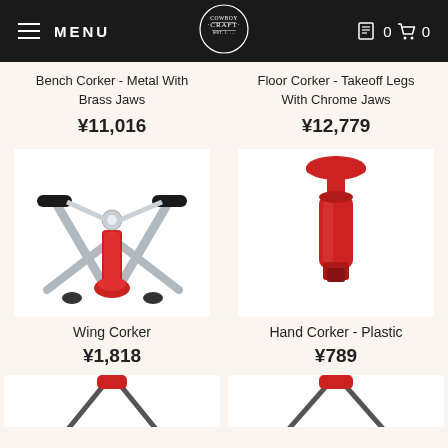MENU | COWBOY CRAFT | 0 0
Bench Corker - Metal With Brass Jaws
¥11,016
Floor Corker - Takeoff Legs With Chrome Jaws
¥12,779
[Figure (photo): Wing Corker product image - metal corker with red center and silver arms]
Wing Corker
¥1,818
[Figure (photo): Hand Corker - Plastic product image - red plastic hand corker]
Hand Corker - Plastic
¥789
[Figure (photo): Partial product images at bottom of page - two corker tools with red handles]